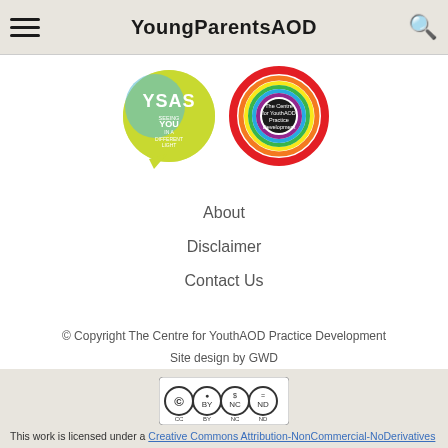YoungParentsAOD
[Figure (logo): YSAS logo - yellow/green speech bubble with 'YSAS Seeing YOU in a Different Light' text]
[Figure (logo): The Centre for YouthAOD Practice Development circular logo with rainbow ring]
About
Disclaimer
Contact Us
© Copyright The Centre for YouthAOD Practice Development
Site design by GWD
Powered by Webtribe
[Figure (logo): Creative Commons BY-NC-ND license badge]
This work is licensed under a Creative Commons Attribution-NonCommercial-NoDerivatives